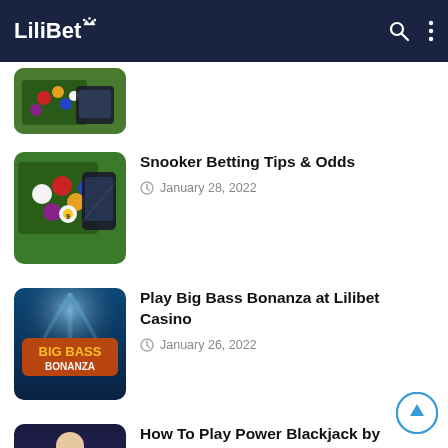LiliBet
[Figure (photo): Partial view of snooker/billiards table with balls and a phone, top of page cropped]
Snooker Betting Tips & Odds — January 28, 2022
[Figure (photo): Snooker table with colorful billiard balls and a phone]
Play Big Bass Bonanza at Lilibet Casino — January 26, 2022
[Figure (photo): Big Bass Bonanza casino game logo with underwater scene]
How To Play Power Blackjack by Evolution Gaming — January 24, 2022
[Figure (photo): Power Blackjack dealer in casino setting]